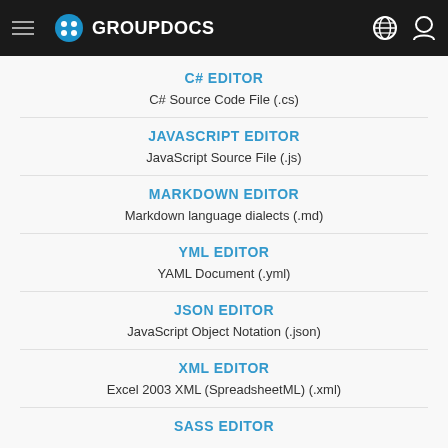GROUPDOCS
C# EDITOR
C# Source Code File (.cs)
JAVASCRIPT EDITOR
JavaScript Source File (.js)
MARKDOWN EDITOR
Markdown language dialects (.md)
YML EDITOR
YAML Document (.yml)
JSON EDITOR
JavaScript Object Notation (.json)
XML EDITOR
Excel 2003 XML (SpreadsheetML) (.xml)
SASS EDITOR